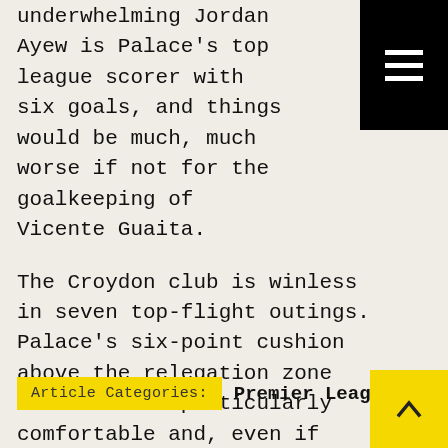underwhelming Jordan Ayew is Palace's top league scorer with six goals, and things would be much, much worse if not for the goalkeeping of Vicente Guaita.
The Croydon club is winless in seven top-flight outings. Palace's six-point cushion above the relegation zone doesn't look particularly comfortable and, even if survival is secured, it's difficult to envision a bright future without wholesale changes in the summer.
Article Categories:  Premier League